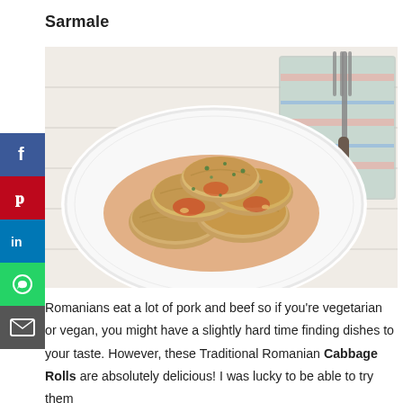Sarmale
[Figure (photo): A white decorative plate with traditional Romanian cabbage rolls (sarmale) in tomato sauce, garnished with herbs. A fork and folded striped cloth napkin are visible to the right on a white wooden surface.]
Romanians eat a lot of pork and beef so if you're vegetarian or vegan, you might have a slightly hard time finding dishes to your taste. However, these Traditional Romanian Cabbage Rolls are absolutely delicious! I was lucky to be able to try them